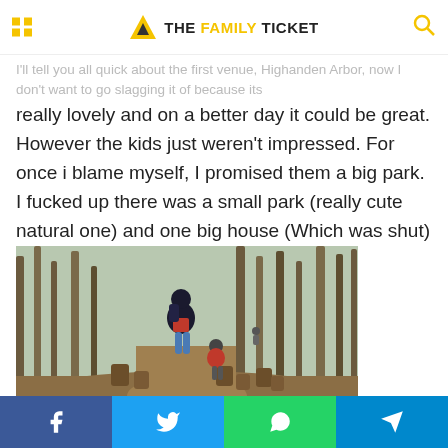THE FAMILY TICKET
I'll tell you all quick about the first venue, Highanden Arbor, now I don't want to go slagging it of because its really lovely and on a better day it could be great. However the kids just weren't impressed. For once i blame myself, I promised them a big park. I fucked up there was a small park (really cute natural one) and one big house (Which was shut) in some gardens.
[Figure (photo): Photo of a person wearing a dark jacket and backpack walking along a woodland path with tree stumps, followed by a small child in a red jacket. Bare trees surround the path with brown leaf-covered ground.]
Social share buttons: Facebook, Twitter, WhatsApp, Telegram